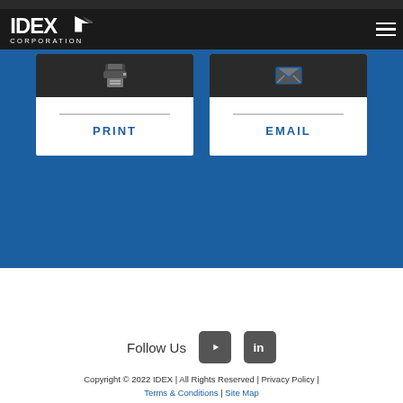[Figure (logo): IDEX Corporation logo in white on dark background]
[Figure (infographic): Print button card with printer icon and PRINT label]
[Figure (infographic): Email button card with envelope icon and EMAIL label]
Follow Us
[Figure (logo): YouTube icon button]
[Figure (logo): LinkedIn icon button]
Copyright © 2022 IDEX | All Rights Reserved | Privacy Policy | Terms & Conditions | Site Map